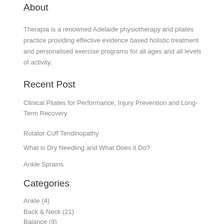About
Therapia is a renowned Adelaide physiotherapy and pilates practice providing effective evidence based holistic treatment and personalised exercise programs for all ages and all levels of activity.
Recent Post
Clinical Pilates for Performance, Injury Prevention and Long-Term Recovery
Rotator Cuff Tendinopathy
What is Dry Needling and What Does it Do?
Ankle Sprains
Categories
Ankle (4)
Back & Neck (21)
Balance (9)